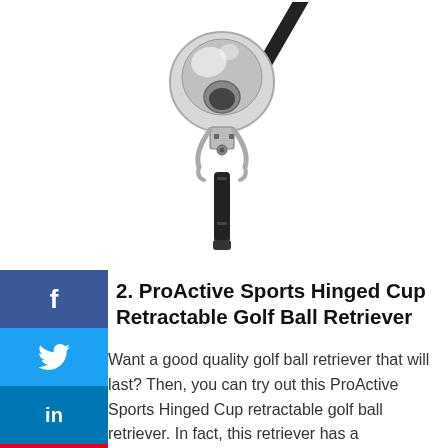[Figure (photo): A ProActive Sports Hinged Cup Retractable Golf Ball Retriever tool shown against a white background, featuring a chrome/silver hinged cup mechanism at the top and a black telescoping pole extending to the upper right.]
2. ProActive Sports Hinged Cup Retractable Golf Ball Retriever
Want a good quality golf ball retriever that will last? Then, you can try out this ProActive Sports Hinged Cup retractable golf ball retriever. In fact, this retriever has a lightweight aluminum tubing in its build.